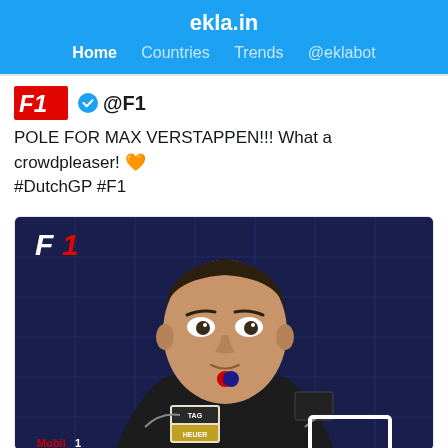ekla.in
Home  Countries  Trends  @eklabot
@F1
POLE FOR MAX VERSTAPPEN!!! What a crowdpleaser! 🧡 #DutchGP #F1
[Figure (photo): Photo of Max Verstappen in Red Bull Racing gear with TAG Heuer and PUMA logos, F1 logo in top-left corner, dark blue background]